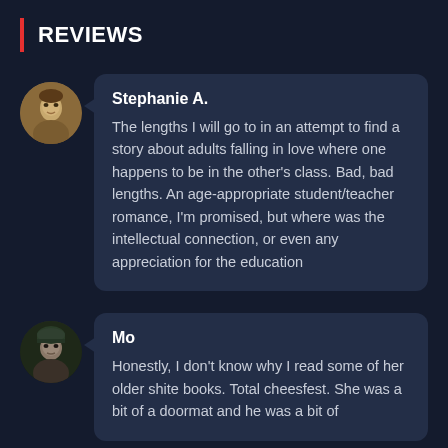REVIEWS
Stephanie A.

The lengths I will go to in an attempt to find a story about adults falling in love where one happens to be in the other's class. Bad, bad lengths. An age-appropriate student/teacher romance, I'm promised, but where was the intellectual connection, or even any appreciation for the education
Mo

Honestly, I don't know why I read some of her older shite books. Total cheesfest. She was a bit of a doormat and he was a bit of